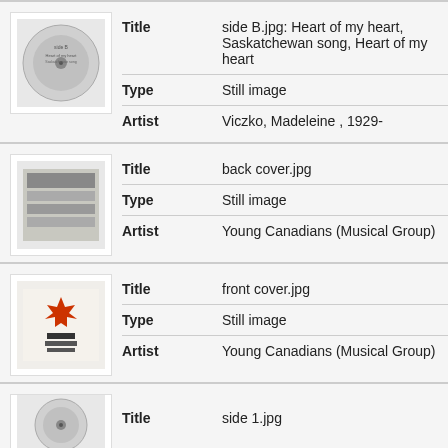[Figure (illustration): Thumbnail of a vinyl record label, side B, circular with text]
| Field | Value |
| --- | --- |
| Title | side B.jpg: Heart of my heart, Saskatchewan song, Heart of my heart |
| Type | Still image |
| Artist | Viczko, Madeleine , 1929- |
[Figure (illustration): Thumbnail of a back cover showing a group of people, black and white]
| Field | Value |
| --- | --- |
| Title | back cover.jpg |
| Type | Still image |
| Artist | Young Canadians (Musical Group) |
[Figure (illustration): Thumbnail of a front cover with a maple leaf and text]
| Field | Value |
| --- | --- |
| Title | front cover.jpg |
| Type | Still image |
| Artist | Young Canadians (Musical Group) |
[Figure (illustration): Thumbnail of a vinyl record label, side 1]
| Field | Value |
| --- | --- |
| Title | side 1.jpg |